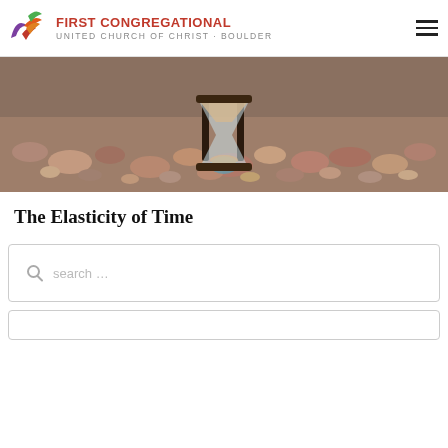FIRST CONGREGATIONAL UNITED CHURCH OF CHRIST · BOULDER
[Figure (photo): Close-up photo of an hourglass standing on rocky pebbles, shallow depth of field, warm earthy tones]
The Elasticity of Time
search …